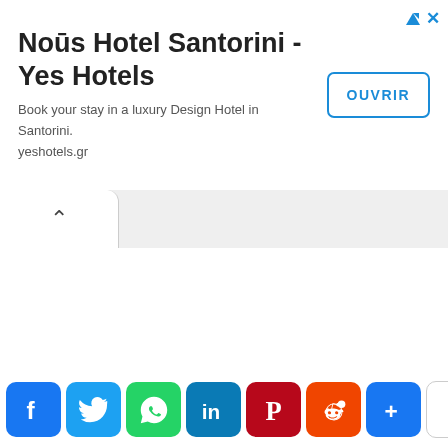[Figure (screenshot): Advertisement banner for Noūs Hotel Santorini - Yes Hotels with title, subtitle text, OUVRIR button, and ad icons]
Noūs Hotel Santorini - Yes Hotels
Book your stay in a luxury Design Hotel in Santorini. yeshotels.gr
[Figure (infographic): Social media share buttons bar: Facebook, Twitter, WhatsApp, LinkedIn, Pinterest, Reddit, More (+), and an empty white box]